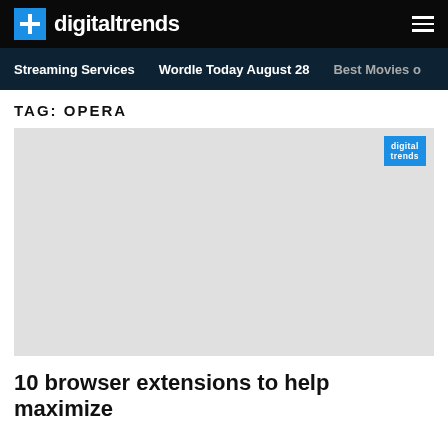digitaltrends
Streaming Services  Wordle Today August 28  Best Movies o
TAG: OPERA
[Figure (other): Gray placeholder image with Digital Trends logo watermark in top-right corner]
10 browser extensions to help maximize